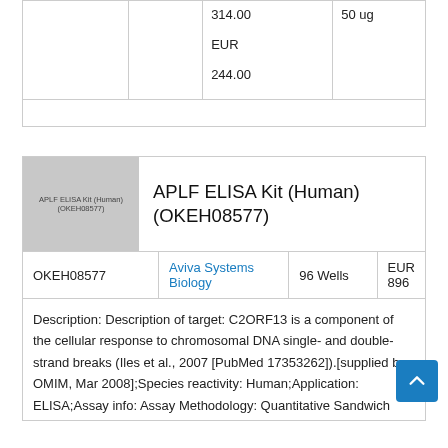|  |  |  |  |  |
| --- | --- | --- | --- | --- |
|  |  | 314.00
EUR
244.00 | 50 ug |
[Figure (photo): Product image placeholder for APLF ELISA Kit (Human) (OKEH08577) showing gray rectangle with product name text overlay]
APLF ELISA Kit (Human) (OKEH08577)
|  | Supplier | Size | Price |
| --- | --- | --- | --- |
| OKEH08577 | Aviva Systems Biology | 96 Wells | EUR 896 |
Description: Description of target: C2ORF13 is a component of the cellular response to chromosomal DNA single- and double-strand breaks (Iles et al., 2007 [PubMed 17353262]).[supplied by OMIM, Mar 2008];Species reactivity: Human;Application: ELISA;Assay info: Assay Methodology: Quantitative Sandwich